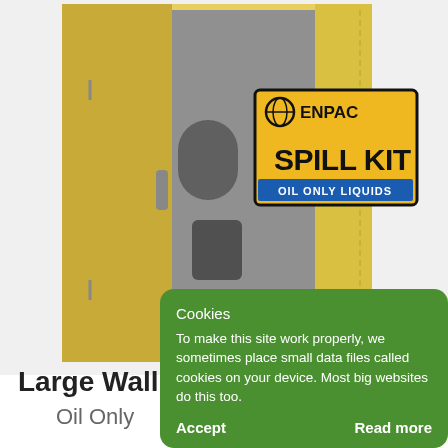[Figure (photo): A yellow ENPAC Spill Kit cabinet wall-mounted, open door showing interior with supplies, with a label reading 'ENPAC SPILL KIT OIL ONLY LIQUIDS']
Large Wall
Oil Only
Cookies
To make this site work properly, we sometimes place small data files called cookies on your device. Most big websites do this too.
Accept   Read more